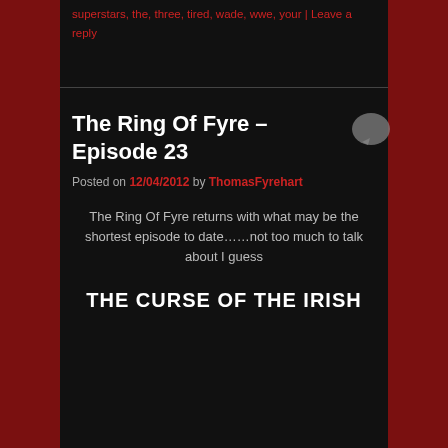superstars, the, three, tired, wade, wwe, your | Leave a reply
The Ring Of Fyre – Episode 23
Posted on 12/04/2012 by ThomasFyrehart
The Ring Of Fyre returns with what may be the shortest episode to date……not too much to talk about I guess
THE CURSE OF THE IRISH